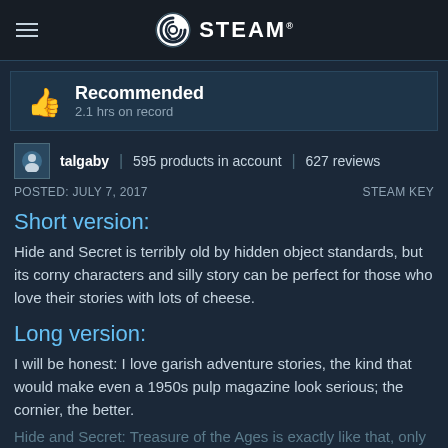STEAM
Recommended
2.1 hrs on record
talgaby | 595 products in account | 627 reviews
POSTED: JULY 7, 2017    STEAM KEY
Short version:
Hide and Secret is terribly old by hidden object standards, but its corny characters and silly story can be perfect for those who love their stories with lots of cheese.
Long version:
I will be honest: I love garish adventure stories, the kind that would make even a 1950s pulp magazine look serious; the cornier, the better.
Hide and Secret: Treasure of the Ages is exactly like that, only